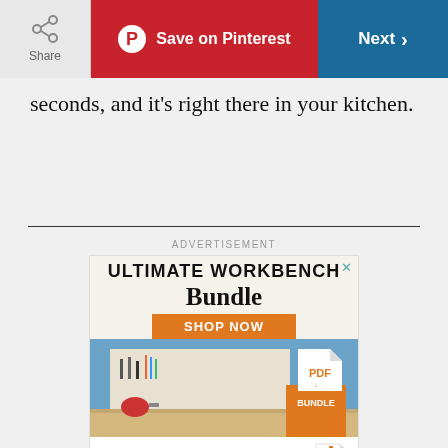Share | Save on Pinterest | Next
seconds, and it's right there in your kitchen.
[Figure (illustration): Advertisement banner for Family Handyman Ultimate Workbench Bundle with Shop Now button and workbench photo with PDF Bundle badge]